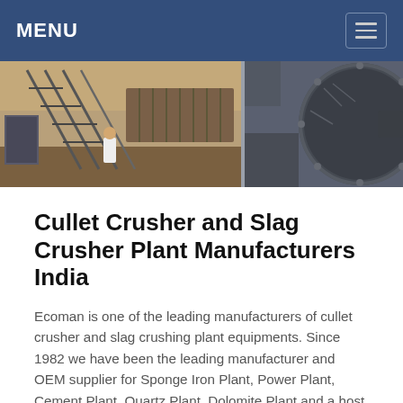MENU
[Figure (photo): Industrial crushing plant equipment — left side shows a conveyor/screening structure with a worker in white, right side shows a large rotating mill or drum equipment, both in an outdoor industrial setting.]
Cullet Crusher and Slag Crusher Plant Manufacturers India
Ecoman is one of the leading manufacturers of cullet crusher and slag crushing plant equipments. Since 1982 we have been the leading manufacturer and OEM supplier for Sponge Iron Plant, Power Plant, Cement Plant, Quartz Plant, Dolomite Plant and a host of other types of minerals plants.. Among the various plants, one of our specialties has been the manufacturing of slag crushing plant.